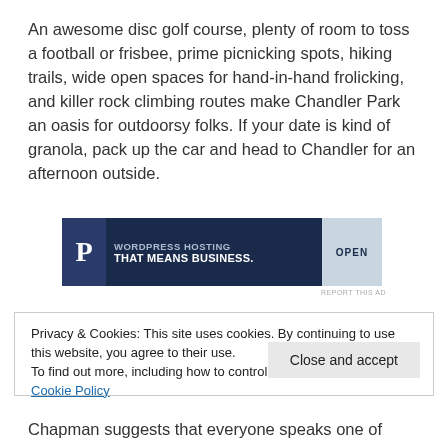An awesome disc golf course, plenty of room to toss a football or frisbee, prime picnicking spots, hiking trails, wide open spaces for hand-in-hand frolicking, and killer rock climbing routes make Chandler Park an oasis for outdoorsy folks. If your date is kind of granola, pack up the car and head to Chandler for an afternoon outside.
[Figure (other): Advertisement banner: Pagely WordPress Hosting That Means Business. Dark blue background with P logo on left and OPEN sign on right.]
REPORT THIS AD
Privacy & Cookies: This site uses cookies. By continuing to use this website, you agree to their use.
To find out more, including how to control cookies, see here: Cookie Policy
Close and accept
Chapman suggests that everyone speaks one of